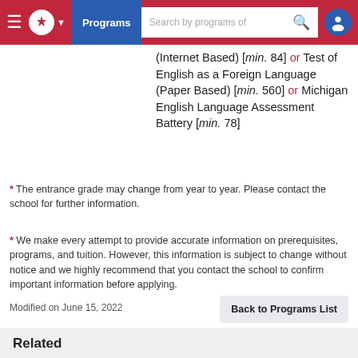Programs | Search by programs of
(Internet Based) [min. 84] or Test of English as a Foreign Language (Paper Based) [min. 560] or Michigan English Language Assessment Battery [min. 78]
* The entrance grade may change from year to year. Please contact the school for further information.
* We make every attempt to provide accurate information on prerequisites, programs, and tuition. However, this information is subject to change without notice and we highly recommend that you contact the school to confirm important information before applying.
Modified on June 15, 2022
Back to Programs List
Related